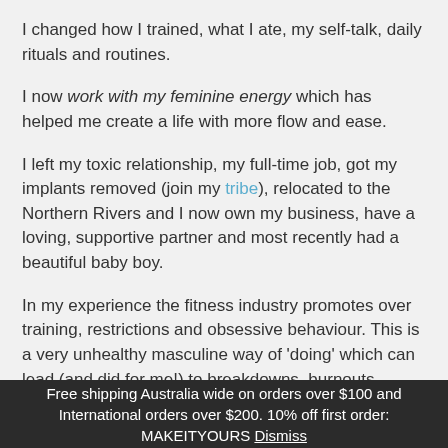I changed how I trained, what I ate, my self-talk, daily rituals and routines.
I now work with my feminine energy which has helped me create a life with more flow and ease.
I left my toxic relationship, my full-time job, got my implants removed (join my tribe), relocated to the Northern Rivers and I now own my business, have a loving, supportive partner and most recently had a beautiful baby boy.
In my experience the fitness industry promotes over training, restrictions and obsessive behaviour. This is a very unhealthy masculine way of 'doing' which can lead (and did for me!) to breakdowns, burnouts, injuries, body shaming and guilty feels.
My passion now lies in coaching women on everything
Free shipping Australia wide on orders over $100 and International orders over $200. 10% off first order: MAKEITYOURS Dismiss